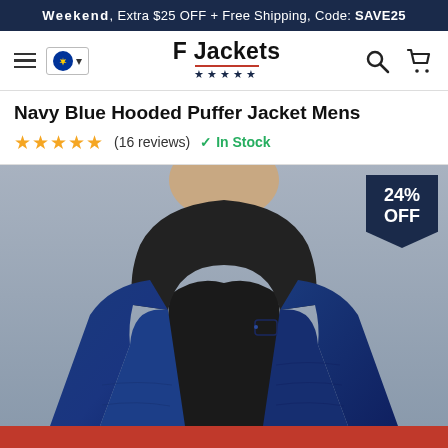Weekend, Extra $25 OFF + Free Shipping, Code: SAVE25
[Figure (screenshot): F Jackets website navigation bar with hamburger menu, EU flag dropdown, F Jackets logo with red underline and navy stars, search icon, and cart icon]
Navy Blue Hooded Puffer Jacket Mens
★★★★★ (16 reviews)  ✓ In Stock
[Figure (photo): Man wearing a navy blue hooded puffer jacket with black hood and black t-shirt underneath, upper body shot on grey background, with a 24% OFF badge in top right corner]
Add to cart